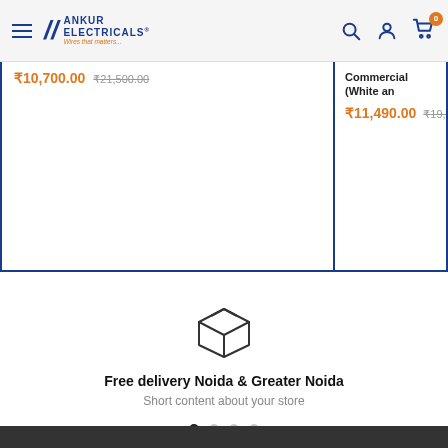Ankur Electricals — navigation header with hamburger menu, logo, search, account, and cart icons
₹10,700.00  ₹21,500.00
Commercial (White an…
₹11,490.00  ₹19,…
[Figure (illustration): Box/package delivery icon (outline style)]
Free delivery Noida & Greater Noida
Short content about your store
Footer dark bar